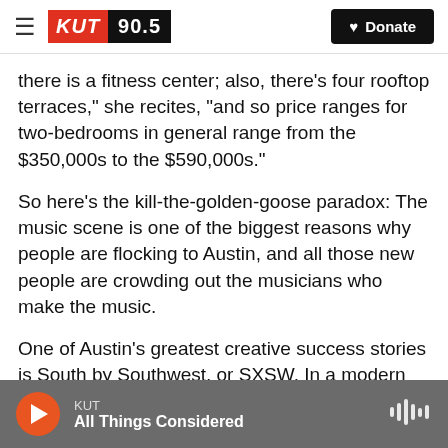KUT 90.5 | Donate
there is a fitness center; also, there's four rooftop terraces," she recites, "and so price ranges for two-bedrooms in general range from the $350,000s to the $590,000s."
So here's the kill-the-golden-goose paradox: The music scene is one of the biggest reasons why people are flocking to Austin, and all those new people are crowding out the musicians who make the music.
One of Austin's greatest creative success stories is South by Southwest, or SXSW. In a modern
KUT | All Things Considered